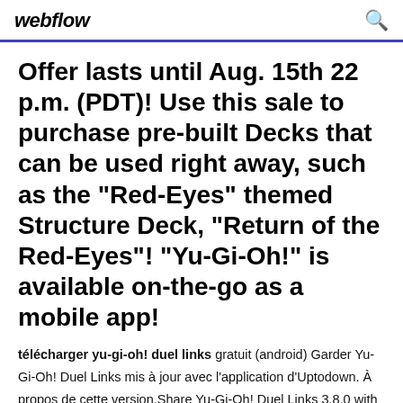webflow
Offer lasts until Aug. 15th 22 p.m. (PDT)! Use this sale to purchase pre-built Decks that can be used right away, such as the "Red-Eyes" themed Structure Deck, "Return of the Red-Eyes"! "Yu-Gi-Oh!" is available on-the-go as a mobile app!
télécharger yu-gi-oh! duel links gratuit (android) Garder Yu-Gi-Oh! Duel Links mis à jour avec l'application d'Uptodown. À propos de cette version.Share Yu-Gi-Oh! Duel Links 3.8.0 with your friends. Blog. Android. Windows. Mac